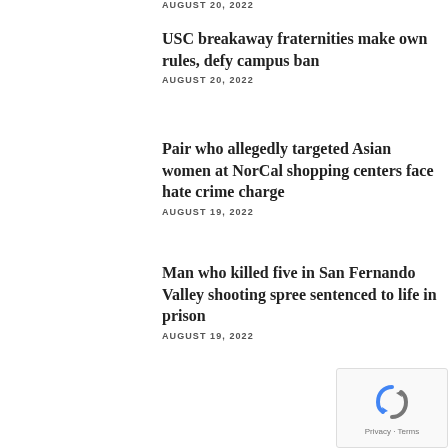AUGUST 20, 2022
USC breakaway fraternities make own rules, defy campus ban
AUGUST 20, 2022
Pair who allegedly targeted Asian women at NorCal shopping centers face hate crime charge
AUGUST 19, 2022
Man who killed five in San Fernando Valley shooting spree sentenced to life in prison
AUGUST 19, 2022